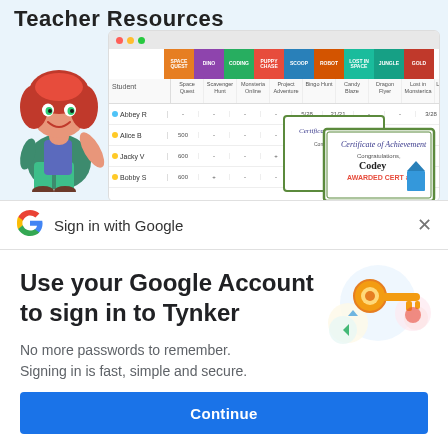Teacher Resources
[Figure (screenshot): Screenshot of a Tynker teacher dashboard showing a spreadsheet-like progress tracker with student names, game progress columns, and certificate overlays. A cartoon character (teacher avatar with red hair) is shown to the left.]
[Figure (logo): Google 'G' logo in multicolor (red, yellow, green, blue)]
Sign in with Google
Use your Google Account to sign in to Tynker
No more passwords to remember.
Signing in is fast, simple and secure.
[Figure (illustration): Colorful illustration of a golden key with circle shapes in blue, yellow, green, and pink around it, representing secure sign-in]
Continue